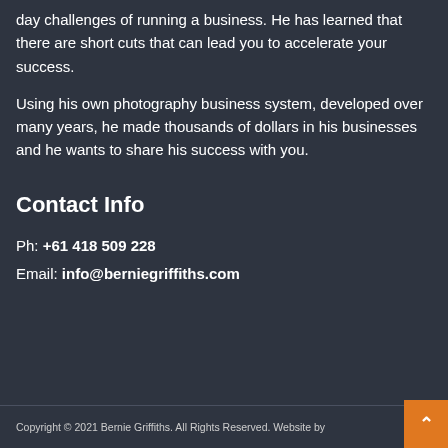day challenges of running a business. He has learned that there are short cuts that can lead you to accelerate your success.
Using his own photography business system, developed over many years, he made thousands of dollars in his businesses and he wants to share his success with you.
Contact Info
Ph: +61 418 509 228
Email: info@berniegriffiths.com
Copyright © 2021 Bernie Griffiths. All Rights Reserved. Website by